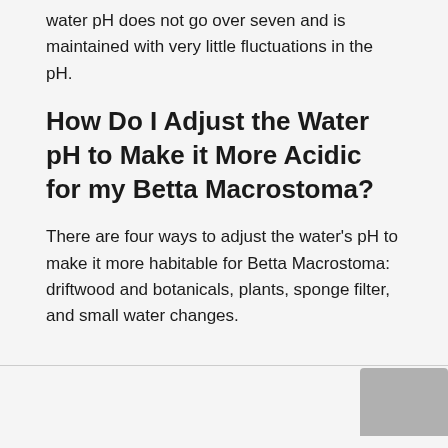water pH does not go over seven and is maintained with very little fluctuations in the pH.
How Do I Adjust the Water pH to Make it More Acidic for my Betta Macrostoma?
There are four ways to adjust the water's pH to make it more habitable for Betta Macrostoma: driftwood and botanicals, plants, sponge filter, and small water changes.